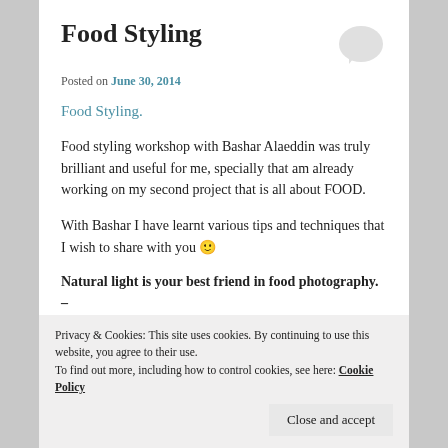Food Styling
Posted on June 30, 2014
Food Styling.
Food styling workshop with Bashar Alaeddin was truly brilliant and useful for me, specially that am already working on my second project that is all about FOOD.
With Bashar I have learnt various tips and techniques that I wish to share with you 🙂
Natural light is your best friend in food photography. –
Privacy & Cookies: This site uses cookies. By continuing to use this website, you agree to their use. To find out more, including how to control cookies, see here: Cookie Policy